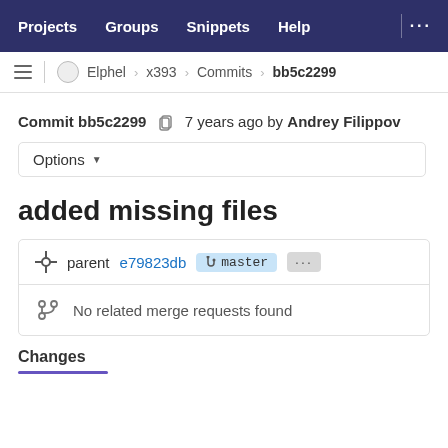Projects  Groups  Snippets  Help  ...
≡  Elphel › x393 › Commits › bb5c2299
Commit bb5c2299  7 years ago by Andrey Filippov
Options ▾
added missing files
parent e79823db  master  ...
No related merge requests found
Changes